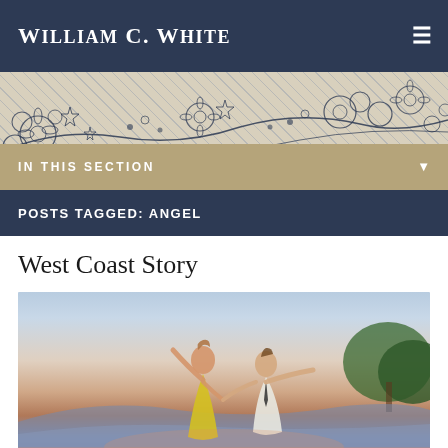William C. White
[Figure (illustration): Decorative botanical/floral banner with diagonal hatching background and botanical line drawings of flowers and branches in navy blue]
IN THIS SECTION
POSTS TAGGED: ANGEL
West Coast Story
[Figure (photo): A man and woman dancing outdoors at sunset with mountains and cityscape in background; woman in yellow dress with arm raised, man in white shirt and tie]